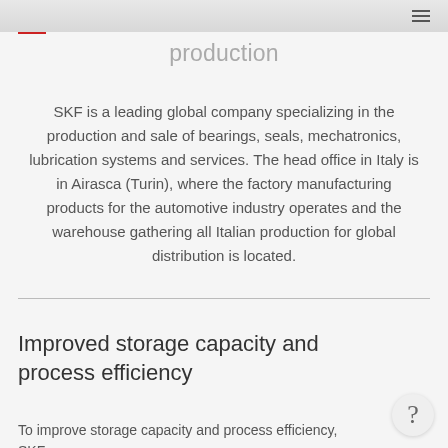production
SKF is a leading global company specializing in the production and sale of bearings, seals, mechatronics, lubrication systems and services. The head office in Italy is in Airasca (Turin), where the factory manufacturing products for the automotive industry operates and the warehouse gathering all Italian production for global distribution is located.
Improved storage capacity and process efficiency
To improve storage capacity and process efficiency, SKF